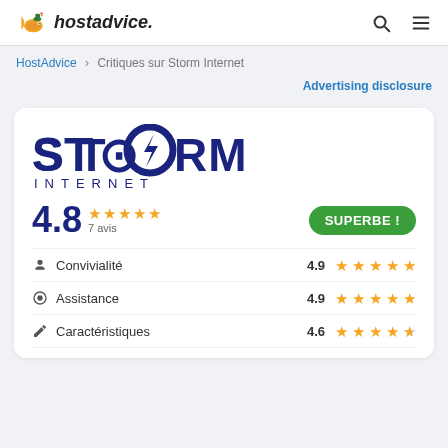hostadvice.
HostAdvice > Critiques sur Storm Internet
Advertising disclosure
[Figure (logo): Storm Internet logo with lightning bolt in letter O]
4.8  7 avis  SUPERBE !
Convivialité 4.9
Assistance 4.9
Caractéristiques 4.6